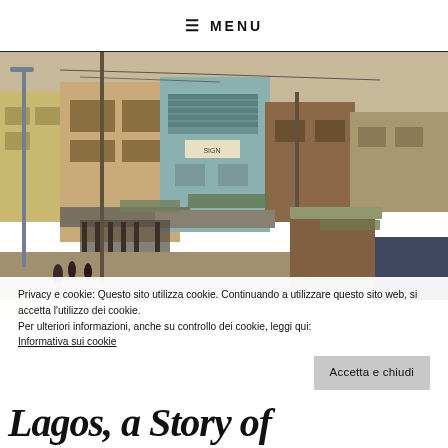≡ MENU
[Figure (photo): A street scene in Lagos, Nigeria, showing dilapidated multi-story buildings, wooden shacks, market stalls, dusty unpaved road, an overturned cart, utility poles with wires, and a street lamp. People and motorcycles are visible in the background.]
Privacy e cookie: Questo sito utilizza cookie. Continuando a utilizzare questo sito web, si accetta l'utilizzo dei cookie.
Per ulteriori informazioni, anche su controllo dei cookie, leggi qui:
Informativa sui cookie
Lagos, a Story of